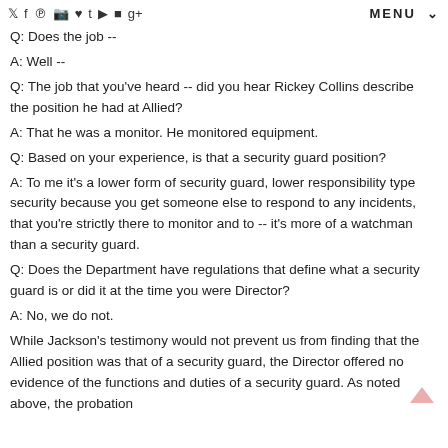Social media icons and MENU
Q: Does the job --
A: Well --
Q: The job that you've heard -- did you hear Rickey Collins describe the position he had at Allied?
A: That he was a monitor. He monitored equipment.
Q: Based on your experience, is that a security guard position?
A: To me it's a lower form of security guard, lower responsibility type security because you get someone else to respond to any incidents, that you're strictly there to monitor and to -- it's more of a watchman than a security guard.
Q: Does the Department have regulations that define what a security guard is or did it at the time you were Director?
A: No, we do not.
While Jackson's testimony would not prevent us from finding that the Allied position was that of a security guard, the Director offered no evidence of the functions and duties of a security guard. As noted above, the probation